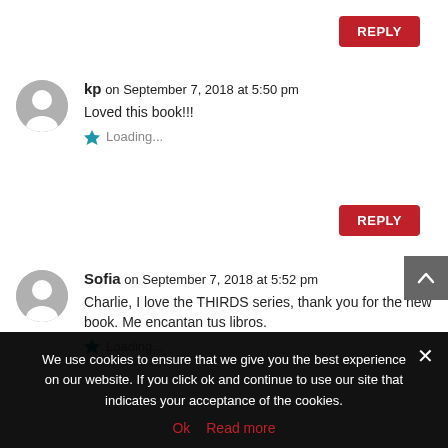REPLY (top)
kp on September 7, 2018 at 5:50 pm
Loved this book!!!
Loading...
REPLY (bottom)
Sofia on September 7, 2018 at 5:52 pm
Charlie, I love the THIRDS series, thank you for the new book. Me encantan tus libros.
Loading...
We use cookies to ensure that we give you the best experience on our website. If you click ok and continue to use our site that indicates your acceptance of the cookies.
Ok   Read more